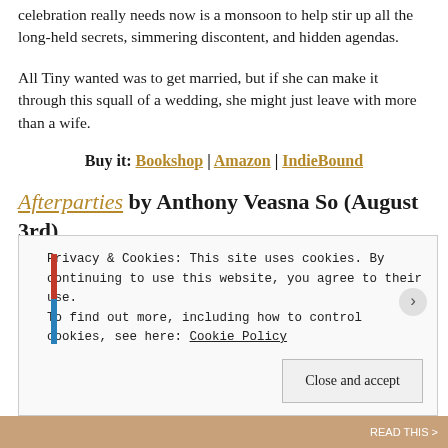celebration really needs now is a monsoon to help stir up all the long-held secrets, simmering discontent, and hidden agendas.
All Tiny wanted was to get married, but if she can make it through this squall of a wedding, she might just leave with more than a wife.
Buy it: Bookshop | Amazon | IndieBound
Afterparties by Anthony Veasna So (August 3rd)
Privacy & Cookies: This site uses cookies. By continuing to use this website, you agree to their use. To find out more, including how to control cookies, see here: Cookie Policy
Close and accept